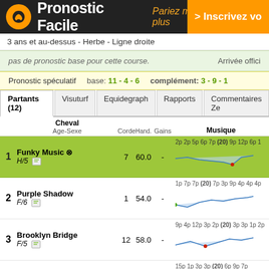Pronostic Facile — Pariez mieux, gagnez plus — > Inscrivez vo...
3 ans et au-dessus - Herbe - Ligne droite
pas de pronostic base pour cette course.  Arrivée offici...
Pronostic spéculatif  base: 11 - 4 - 6  complément: 3 - 9 - 1...
Partants (12) | Visuturf | Equidegraph | Rapports | Commentaires Ze...
| # | Cheval Age-Sexe | Corde | Hand. | Gains | Musique |
| --- | --- | --- | --- | --- | --- |
| 1 | Funky Music ® H/5 | 7 | 60.0 | - | 2p 2p 5p 6p 7p (20) 9p 12p 6p 1... |
| 2 | Purple Shadow F/6 | 1 | 54.0 | - | 1p 7p 7p (20) 7p 3p 9p 4p 4p 4... |
| 3 | Brooklyn Bridge F/5 | 12 | 58.0 | - | 9p 4p 12p 3p 2p (20) 3p 3p 1p 2... |
| 4 | Essence F/5 | 5 | 58.0 | - | 15p 1p 3p 3p (20) 6p 9p 7... |
| 5 | Louvain F/7 | 3 | 58.0 | - | 8p 5p 4p 4p 5p 1p 9p (20) 11p 2p... |